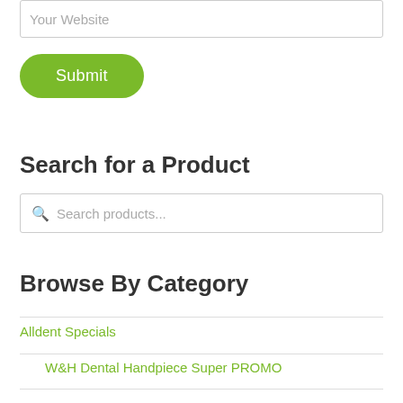Your Website
Submit
Search for a Product
Search products...
Browse By Category
Alldent Specials
W&H Dental Handpiece Super PROMO